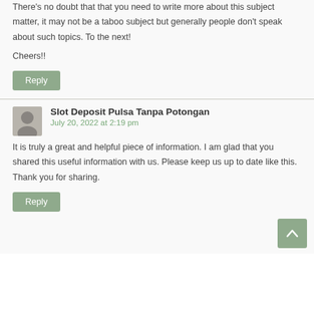There's no doubt that that you need to write more about this subject matter, it may not be a taboo subject but generally people don't speak about such topics. To the next!
Cheers!!
Reply
Slot Deposit Pulsa Tanpa Potongan
July 20, 2022 at 2:19 pm
It is truly a great and helpful piece of information. I am glad that you shared this useful information with us. Please keep us up to date like this. Thank you for sharing.
Reply